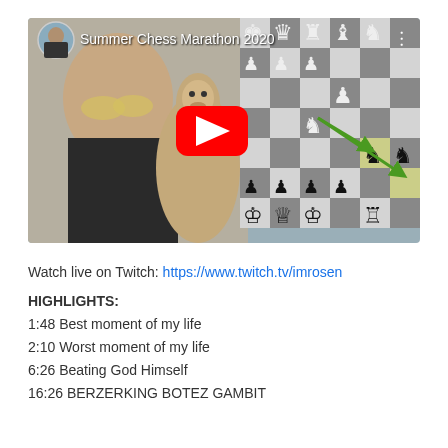[Figure (screenshot): YouTube video thumbnail for 'Summer Chess Marathon 2020' showing a man with sunglasses, an alpaca, and a chess board with a YouTube play button overlay]
Watch live on Twitch: https://www.twitch.tv/imrosen
HIGHLIGHTS:
1:48 Best moment of my life
2:10 Worst moment of my life
6:26 Beating God Himself
16:26 BERZERKING BOTEZ GAMBIT